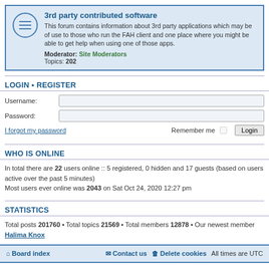[Figure (other): Forum card: 3rd party contributed software. Icon of lines/menu. Title, description, moderator, topics.]
LOGIN • REGISTER
Username:
Password:
I forgot my password
Remember me  Login
WHO IS ONLINE
In total there are 22 users online :: 5 registered, 0 hidden and 17 guests (based on users active over the past 5 minutes)
Most users ever online was 2043 on Sat Oct 24, 2020 12:27 pm
STATISTICS
Total posts 201760 • Total topics 21569 • Total members 12878 • Our newest member Halima Knox
Board index   Contact us   Delete cookies   All times are UTC
Powered by phpBB® Forum Software © phpBB Limited
Privacy | Terms